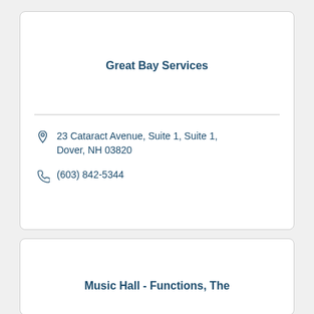Great Bay Services
23 Cataract Avenue, Suite 1, Suite 1, Dover, NH 03820
(603) 842-5344
Music Hall - Functions, The